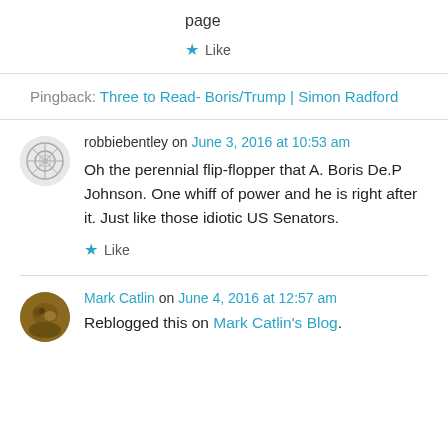page
★ Like
Pingback: Three to Read- Boris/Trump | Simon Radford
robbiebentley on June 3, 2016 at 10:53 am
Oh the perennial flip-flopper that A. Boris De.P Johnson. One whiff of power and he is right after it. Just like those idiotic US Senators.
★ Like
Mark Catlin on June 4, 2016 at 12:57 am
Reblogged this on Mark Catlin's Blog.